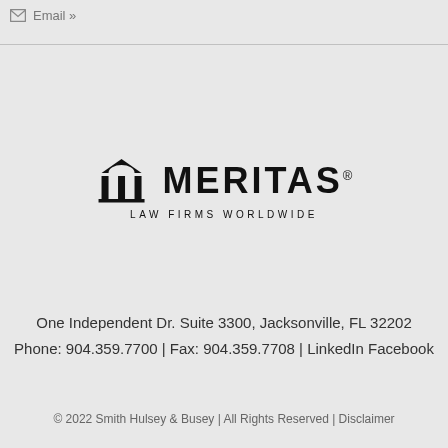Email »
[Figure (logo): Meritas Law Firms Worldwide logo with stylized columns icon]
One Independent Dr. Suite 3300, Jacksonville, FL 32202
Phone: 904.359.7700 | Fax: 904.359.7708 | LinkedIn Facebook
© 2022 Smith Hulsey & Busey | All Rights Reserved | Disclaimer